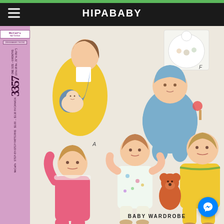HIPABABY
[Figure (illustration): McCall's Patterns sewing pattern #3357 cover. Pink sidebar with rotated text reading 'McCall's 3357 Step-by-Step Patterns $1.00 ... $1.10 in Canada'. Top sidebar shows McCall's Patterns logo and 'Dressmaker Tested' badge. Text reads 'One Size - 6 Months (13 to 18 lbs., 21" to 26½")'. Main illustration shows: A - woman in yellow jacket carrying baby in blue sling carrier; B - baby in blue hooded footed snowsuit holding rattle; C - toddler in yellow pajamas sitting with teddy bear; D - toddler in pink overalls; E - toddler in floral romper. Upper right shows bib with animals (F). Caption at bottom: BABY WARDROBE.]
BABY WARDROBE